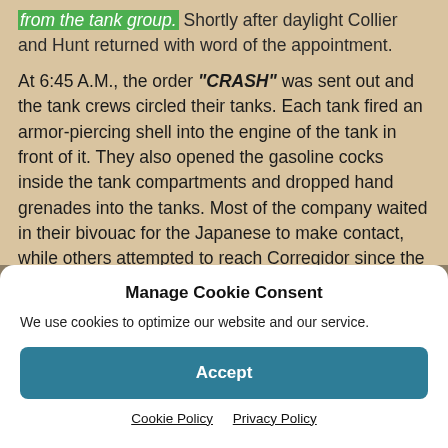from the tank group.) Shortly after daylight Collier and Hunt returned with word of the appointment.
At 6:45 A.M., the order "CRASH" was sent out and the tank crews circled their tanks. Each tank fired an armor-piercing shell into the engine of the tank in front of it. They also opened the gasoline cocks inside the tank compartments and dropped hand grenades into the tanks. Most of the company waited in their bivouac for the Japanese to make contact, while others attempted to reach Corregidor since the island had not surrendered.
Manage Cookie Consent
We use cookies to optimize our website and our service.
Accept
Cookie Policy   Privacy Policy